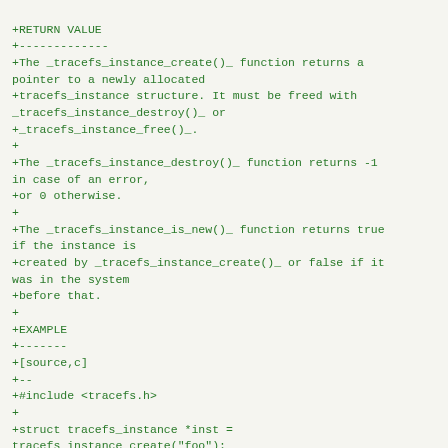+RETURN VALUE
+-------------
+The _tracefs_instance_create()_ function returns a pointer to a newly allocated
+tracefs_instance structure. It must be freed with _tracefs_instance_destroy()_ or
+_tracefs_instance_free()_.
+
+The _tracefs_instance_destroy()_ function returns -1 in case of an error,
+or 0 otherwise.
+
+The _tracefs_instance_is_new()_ function returns true if the instance is
+created by _tracefs_instance_create()_ or false if it was in the system
+before that.
+
+EXAMPLE
+-------
+[source,c]
+--
+#include <tracefs.h>
+
+struct tracefs_instance *inst = tracefs_instance_create("foo");
+        if (!inst) {
+                /* Error creating a new trace instance
*/